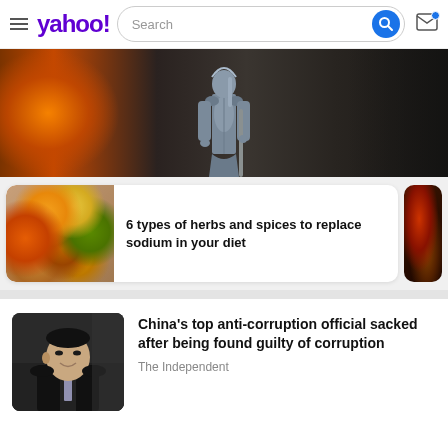yahoo! Search
[Figure (photo): Hero image of a warrior in silver armor against a fiery background]
[Figure (photo): Colorful spices and herbs in spoons and bowls]
6 types of herbs and spices to replace sodium in your diet
[Figure (photo): Side thumbnail of food/vegetables]
[Figure (photo): Chinese official, smiling man in suit]
China's top anti-corruption official sacked after being found guilty of corruption
The Independent